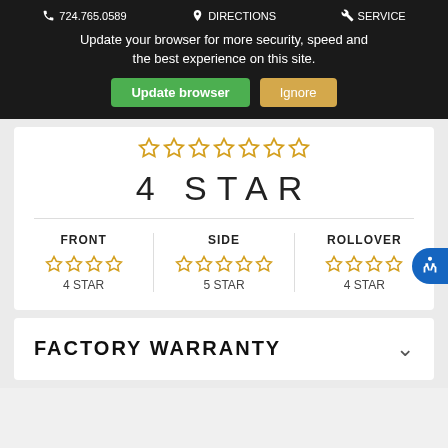📞 724.765.0589   📍 DIRECTIONS   🔧 SERVICE
Update your browser for more security, speed and the best experience on this site.
Update browser   Ignore
4 STAR
| FRONT | SIDE | ROLLOVER |
| --- | --- | --- |
| 4 STAR | 5 STAR | 4 STAR |
FACTORY WARRANTY